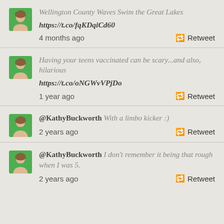[Figure (screenshot): Social media feed showing four tweets/retweets with user avatar, tweet text, timestamp, and retweet button]
Wellington County Waves Swim the Great Lakes
https://t.co/fqKDqiCd60
4 months ago  Retweet
Having your teens vaccinated can be scary...and also, hilarious
https://t.co/oNGWvVPjDo
1 year ago  Retweet
@KathyBuckworth With a limbo kicker :)
2 years ago  Retweet
@KathyBuckworth I don't remember it being that rough when I was 5.
2 years ago  Retweet